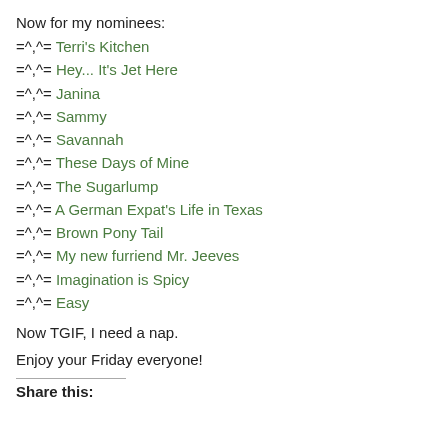Now for my nominees:
=^,^= Terri's Kitchen
=^,^= Hey... It's Jet Here
=^,^= Janina
=^,^= Sammy
=^,^= Savannah
=^,^= These Days of Mine
=^,^= The Sugarlump
=^,^= A German Expat's Life in Texas
=^,^= Brown Pony Tail
=^,^= My new furriend Mr. Jeeves
=^,^= Imagination is Spicy
=^,^= Easy
Now TGIF, I need a nap.
Enjoy your Friday everyone!
Share this: